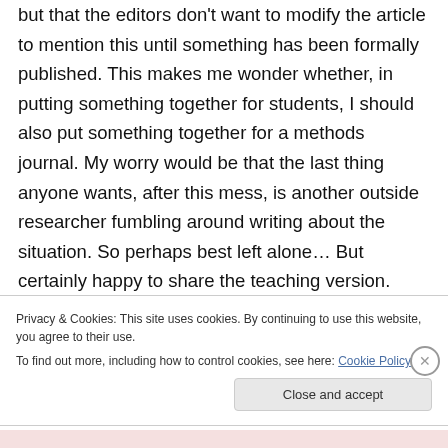but that the editors don't want to modify the article to mention this until something has been formally published. This makes me wonder whether, in putting something together for students, I should also put something together for a methods journal. My worry would be that the last thing anyone wants, after this mess, is another outside researcher fumbling around writing about the situation. So perhaps best left alone… But certainly happy to share the teaching version.
Privacy & Cookies: This site uses cookies. By continuing to use this website, you agree to their use. To find out more, including how to control cookies, see here: Cookie Policy